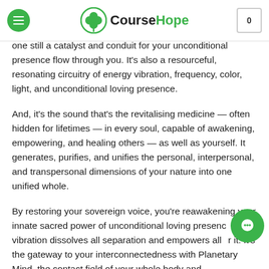CourseHope
one still a catalyst and conduit for your unconditional presence flow through you. It's also a resourceful, resonating circuitry of energy vibration, frequency, color, light, and unconditional loving presence.
And, it's the sound that's the revitalising medicine — often hidden for lifetimes — in every soul, capable of awakening, empowering, and healing others — as well as yourself. It generates, purifies, and unifies the personal, interpersonal, and transpersonal dimensions of your nature into one unified whole.
By restoring your sovereign voice, you're reawakening your innate sacred power of unconditional loving presence vibration dissolves all separation and empowers all r it. It's the gateway to your interconnectedness with Planetary Mind, the contact field of your whole body and...